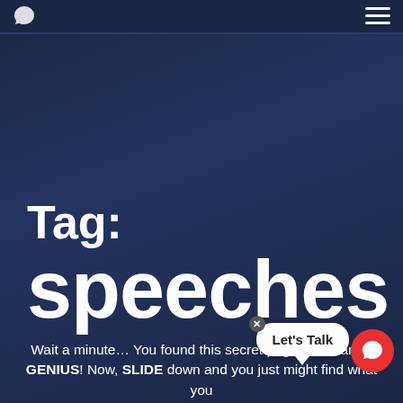Tag: speeches
Wait a minute... You found this secret page?! You are a GENIUS! Now, SLIDE down and you just might find what you